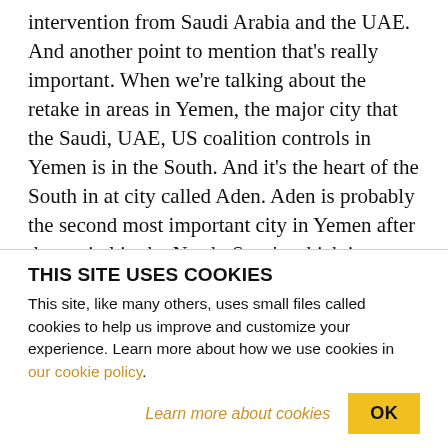intervention from Saudi Arabia and the UAE. And another point to mention that's really important. When we're talking about the retake in areas in Yemen, the major city that the Saudi, UAE, US coalition controls in Yemen is in the South. And it's the heart of the South in at city called Aden. Aden is probably the second most important city in Yemen after the capital in the North, Sana'a which is controlled by the Houthis and the popular committees back by Salla. In the South what is almost never acknowledged is that the horrible
THIS SITE USES COOKIES
This site, like many others, uses small files called cookies to help us improve and customize your experience. Learn more about how we use cookies in our cookie policy.
Learn more about cookies
OK